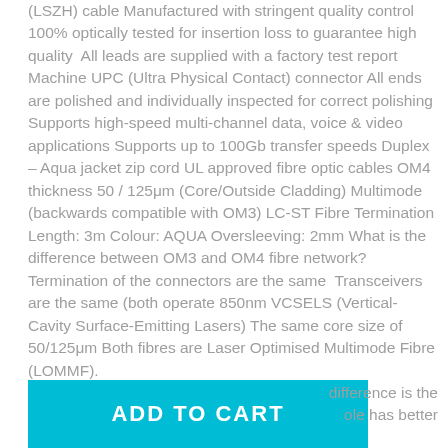(LSZH) cable Manufactured with stringent quality control 100% optically tested for insertion loss to guarantee high quality  All leads are supplied with a factory test report Machine UPC (Ultra Physical Contact) connector All ends are polished and individually inspected for correct polishing Supports high-speed multi-channel data, voice & video applications Supports up to 100Gb transfer speeds Duplex – Aqua jacket zip cord UL approved fibre optic cables OM4 thickness 50 / 125μm (Core/Outside Cladding) Multimode (backwards compatible with OM3) LC-ST Fibre Termination Length: 3m Colour: AQUA Oversleeving: 2mm What is the difference between OM3 and OM4 fibre network? Termination of the connectors are the same  Transceivers are the same (both operate 850nm VCSELS (Vertical-Cavity Surface-Emitting Lasers) The same core size of 50/125μm Both fibres are Laser Optimised Multimode Fibre (LOMMF). difference is the ole has better attenuation, lower crosstalk, higher bandwidth than OM3